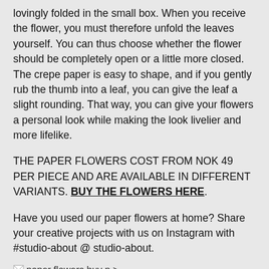lovingly folded in the small box. When you receive the flower, you must therefore unfold the leaves yourself. You can thus choose whether the flower should be completely open or a little more closed. The crepe paper is easy to shape, and if you gently rub the thumb into a leaf, you can give the leaf a slight rounding. That way, you can give your flowers a personal look while making the look livelier and more lifelike.
THE PAPER FLOWERS COST FROM NOK 49 PER PIECE AND ARE AVAILABLE IN DIFFERENT VARIANTS. BUY THE FLOWERS HERE.
Have you used our paper flowers at home? Share your creative projects with us on Instagram with #studio-about @ studio-about.
[Figure (other): Broken image icon with alt text 'paper flowers buy p >']